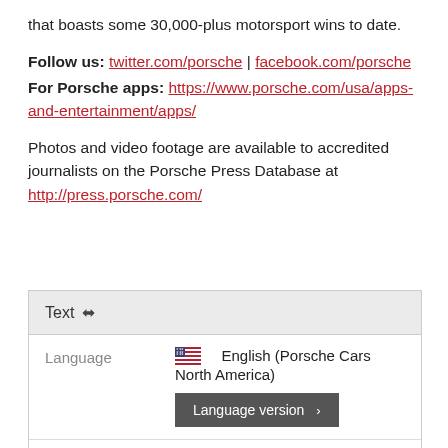that boasts some 30,000-plus motorsport wins to date.
Follow us: twitter.com/porsche | facebook.com/porsche
For Porsche apps: https://www.porsche.com/usa/apps-and-entertainment/apps/
Photos and video footage are available to accredited journalists on the Porsche Press Database at http://press.porsche.com/
|  |  |
| --- | --- |
| Language | 🇺🇸  English (Porsche Cars North America)
Language version > |
| Status | 🟡 Archived |